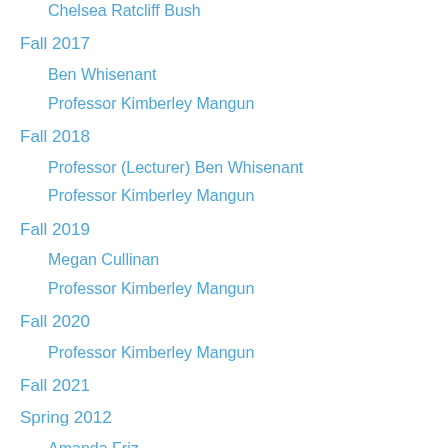Chelsea Ratcliff Bush
Fall 2017
Ben Whisenant
Professor Kimberley Mangun
Fall 2018
Professor (Lecturer) Ben Whisenant
Professor Kimberley Mangun
Fall 2019
Megan Cullinan
Professor Kimberley Mangun
Fall 2020
Professor Kimberley Mangun
Fall 2021
Spring 2012
Amanda Friz
Jennie Nicholls-Smith
Spring 2013
Jennifer Jones
Spring 2016
Chelsea Ratcliff Bush